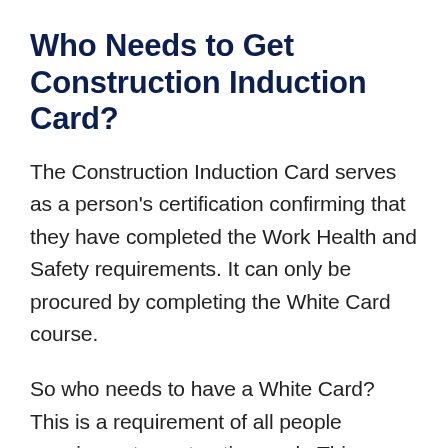Who Needs to Get Construction Induction Card?
The Construction Induction Card serves as a person's certification confirming that they have completed the Work Health and Safety requirements. It can only be procured by completing the White Card course.
So who needs to have a White Card? This is a requirement of all people carrying out construction work. This includes site managers and supervisors as well as surveyors labourers and tradespersons, who access operational